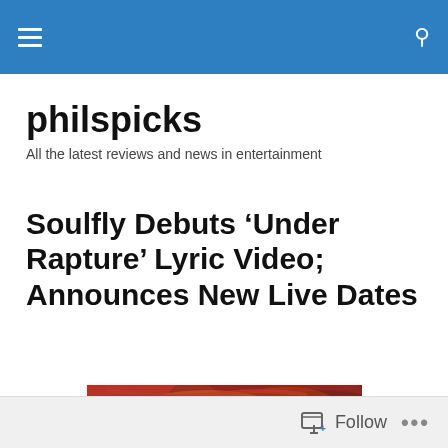philspicks – navigation bar with menu and search
philspicks
All the latest reviews and news in entertainment
Soulfly Debuts ‘Under Rapture’ Lyric Video; Announces New Live Dates
[Figure (photo): Soulfly Ritual album artwork featuring dramatic red artwork with the band name Soulfly and text Ritual, warrior figure with bow against fiery sky and temple ruins]
Follow   ...